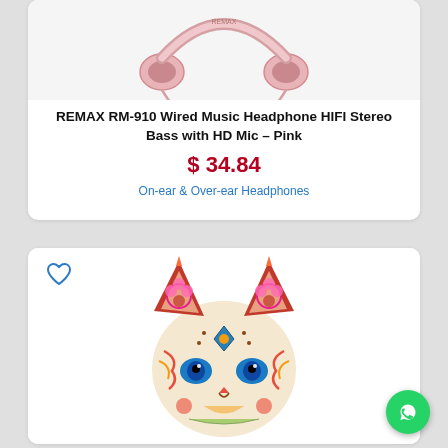[Figure (photo): Pink REMAX headphones product image shown from above, partially cropped at top of card]
REMAX RM-910 Wired Music Headphone HIFI Stereo Bass with HD Mic – Pink
$ 34.84
On-ear & Over-ear Headphones
[Figure (illustration): Colorful decorative cat face illustration with mandala/floral patterns, blue eyes, vibrant colors in reds, oranges, blues and pinks]